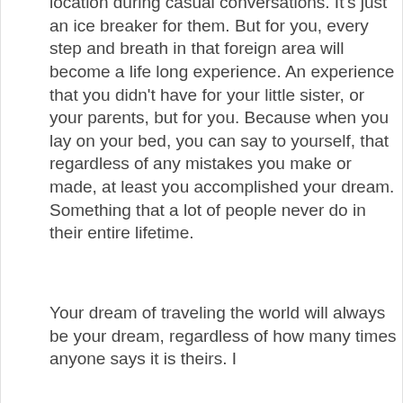location during casual conversations. It's just an ice breaker for them. But for you, every step and breath in that foreign area will become a life long experience. An experience that you didn't have for your little sister, or your parents, but for you. Because when you lay on your bed, you can say to yourself, that regardless of any mistakes you make or made, at least you accomplished your dream. Something that a lot of people never do in their entire lifetime.
Your dream of traveling the world will always be your dream, regardless of how many times anyone says it is theirs. I